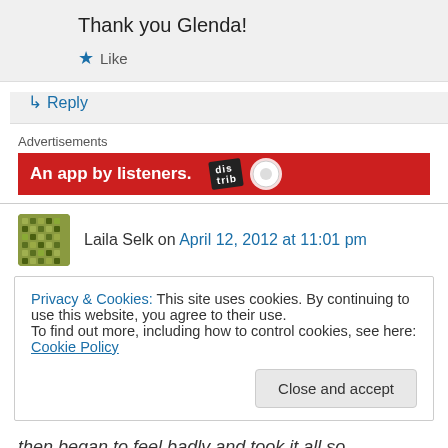Thank you Glenda!
★ Like
↪ Reply
Advertisements
[Figure (illustration): Red advertisement banner with text 'An app by listeners.' and logo graphics]
Laila Selk on April 12, 2012 at 11:01 pm
Privacy & Cookies: This site uses cookies. By continuing to use this website, you agree to their use.
To find out more, including how to control cookies, see here: Cookie Policy
Close and accept
then began to feel badly and took it all so